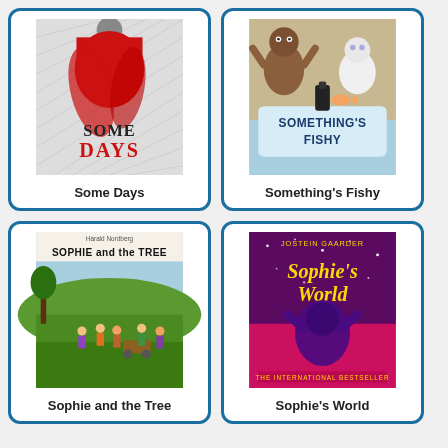[Figure (illustration): Book cover for 'Some Days' showing a figure in a red dress on a grey/white textured background with stylized text]
Some Days
[Figure (illustration): Book cover for 'Something's Fishy' showing cartoon monster/yeti characters on a tan/blue background]
Something's Fishy
[Figure (illustration): Book cover for 'Sophie and the Tree' by Harald Nordberg showing children in a countryside scene]
Sophie and the Tree
[Figure (illustration): Book cover for 'Sophie's World' by Jostein Gaarder showing a figure looking at a starry sky on a red/purple background]
Sophie's World